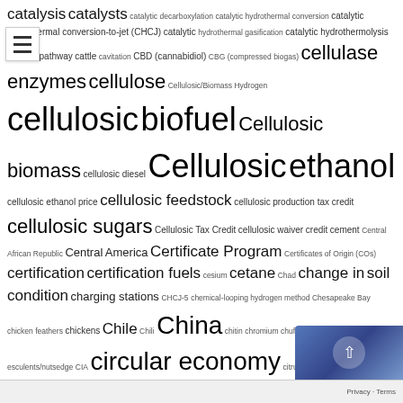[Figure (infographic): Tag cloud / word cloud showing terms related to biofuels, energy, agriculture, and environmental policy. Terms vary in font size indicating frequency/importance. Includes terms like: catalysis, catalysts, catalytic decarboxylation, catalytic hydrothermal conversion, catalytic hydrothermal conversion-to-jet (CHCJ), catalytic hydrothermal gasification, catalytic hydrothermolysis, jet CHJ pathway, cattle, cavitation, CBD (cannabidiol), CBG (compressed biogas), cellulase enzymes, cellulose, Cellulosic/Biomass Hydrogen, cellulosic biofuel, Cellulosic biomass, cellulosic diesel, Cellulosic ethanol, cellulosic ethanol price, cellulosic feedstock, cellulosic production tax credit, cellulosic sugars, Cellulosic Tax Credit, cellulosic waiver credit, cement, Central African Republic, Central America, Certificate Program, Certificates of Origin (COs), certification, certification fuels, cesium, cetane, Chad, change in soil condition, charging stations, CHCJ-5, chemical-looping hydrogen method, Chesapeake Bay, chicken feathers, chickens, Chile, Chili, China, chitin, chromium, chufa/cyperus esculents/nutsedge, CIA, circular economy, citrus, citrus greening disease, Citrus Peel, Clean, clean air, Clean Air Act (CAA), clean diesel, Clean Fuel Standard/Policy (CFS), Clean Power Plan (CPP), Clean Trucks Plan, Clean Water Act, climate change, Climate Change Adaptation, climate change effects, climate change mitigation, climate legislation, climate smart agriculture, closed-loop system, Clostridium thermocellum, cloud point, clover, CNG, Conversion kit, co, co-generation, location, co-operative, co-processing, co-products, coal, Coal]